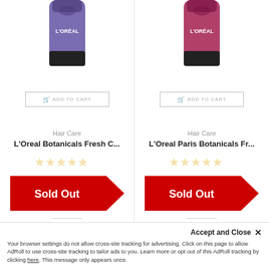[Figure (photo): L'Oreal Botanicals product in purple tube, partially cropped at top]
[Figure (photo): L'Oreal Paris Botanicals product in pink/red tube, partially cropped at top]
ADD TO CART
ADD TO CART
Hair Care
L'Oreal Botanicals Fresh C...
Hair Care
L'Oreal Paris Botanicals Fr...
[Figure (other): Sold Out red arrow badge]
[Figure (other): Sold Out red arrow badge]
L'Oréal Paris Botanicals
L'Oréal Paris Botanicals
Accept and Close ✕
Your browser settings do not allow cross-site tracking for advertising. Click on this page to allow AdRoll to use cross-site tracking to tailor ads to you. Learn more or opt out of this AdRoll tracking by clicking here. This message only appears once.